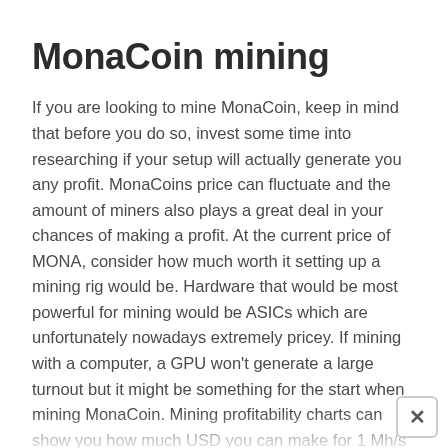MonaCoin mining
If you are looking to mine MonaCoin, keep in mind that before you do so, invest some time into researching if your setup will actually generate you any profit. MonaCoins price can fluctuate and the amount of miners also plays a great deal in your chances of making a profit. At the current price of MONA, consider how much worth it setting up a mining rig would be. Hardware that would be most powerful for mining would be ASICs which are unfortunately nowadays extremely pricey. If mining with a computer, a GPU won’t generate a large turnout but it might be something for the start when mining MonaCoin. Mining profitability charts can show you how much USD you can make for 1 Mh/s of hash rate. These charts also have the electricity expenses covered. Mining difficulty increases by the number of miners and every time the